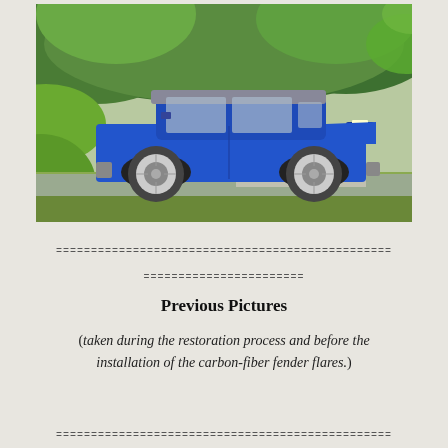[Figure (photo): A blue Toyota 4Runner or similar 1980s SUV/truck with a lifted suspension and black fender flares, parked on a residential street surrounded by green trees and lawn. The vehicle is viewed from the driver's side profile.]
================================================
======================
Previous Pictures
(taken during the restoration process and before the installation of the carbon-fiber fender flares.)
================================================